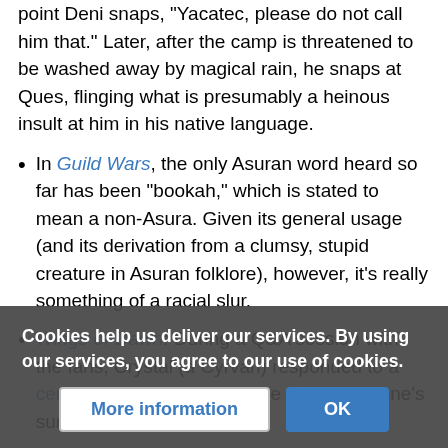point Deni snaps, 'Yacatec, please do not call him that.' Later, after the camp is threatened to be washed away by magical rain, he snaps at Ques, flinging what is presumably a heinous insult at him in his native language.
In Guild Wars, the only Asuran word heard so far has been "bookah," which is stated to mean a non-Asura. Given its general usage (and its derivation from a clumsy, stupid creature in Asuran folklore), however, it's really something of a racial slur.
Wings of Dawn: During a Q&A session with the fans, Crystal (a Cyrvan) responded to a certain request with "Ariyu ze yyura." No one's sure what this means, but
Cookies help us deliver our services. By using our services, you agree to our use of cookies.
More information | OK